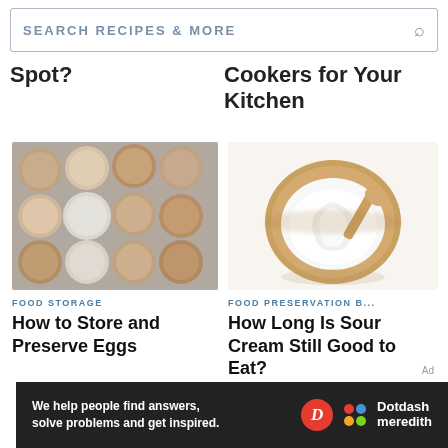[Figure (screenshot): Search bar with text SEARCH RECIPES & MORE and a search icon on the right]
Spot?
Cookers for Your Kitchen
[Figure (photo): Overhead view of eggs in a cardboard egg carton, various brown and white eggs]
FOOD STORAGE
How to Store and Preserve Eggs
[Figure (photo): Overhead view of a wooden bowl filled with sour cream and a wooden spoon, on white background]
FOOD PRESERVATION B...
How Long Is Sour Cream Still Good to Eat?
[Figure (other): Dotdash Meredith advertisement banner: We help people find answers, solve problems and get inspired.]